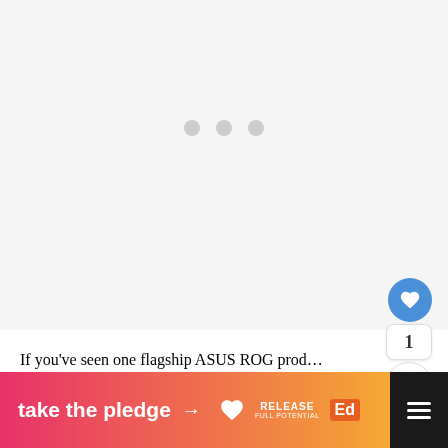[Figure (photo): Large image area with loading indicator showing three gray dots, indicating an image is loading. Light gray background.]
If you’ve seen one flagship ASUS ROG prod…
[Figure (infographic): Advertisement banner: 'take the pledge' with arrow, Release logo, and Ed logo on gradient pink-orange background. Dark bar on right with menu icon.]